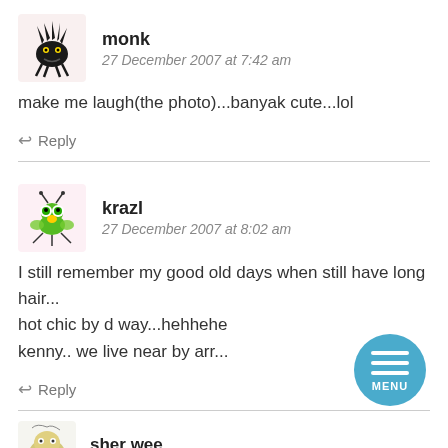[Figure (illustration): Avatar for user 'monk' — black cartoon creature with spiky hair and legs]
monk
27 December 2007 at 7:42 am
make me laugh(the photo)...banyak cute...lol
↩ Reply
[Figure (illustration): Avatar for user 'krazl' — green cartoon bug/insect character]
krazl
27 December 2007 at 8:02 am
I still remember my good old days when still have long hair...
hot chic by d way...hehhehe
kenny.. we live near by arr...
↩ Reply
[Figure (illustration): Partial avatar for user 'sher wee' — visible at bottom]
sher wee